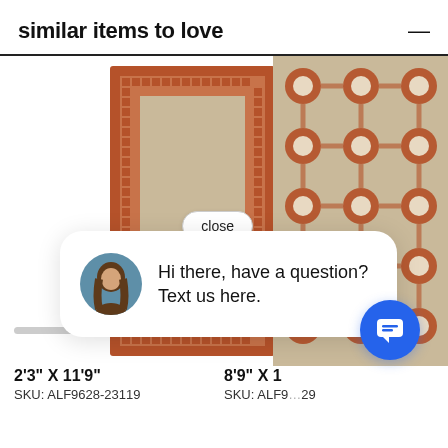similar items to love
[Figure (photo): Rectangular rug with terracotta/rust Greek key border pattern and beige/tan center, displayed vertically]
[Figure (photo): Rug with terracotta/rust and cream floral/medallion pattern, partially visible on right side]
close
[Figure (illustration): Chat popup bubble with avatar of a woman with long brown hair on teal/blue background, text: Hi there, have a question? Text us here.]
Hi there, have a question? Text us here.
2'3" X 11'9"
SKU: ALF9628-23119
8'9" X 1
SKU: ALF9
[Figure (illustration): Blue circular chat icon button with speech bubble icon]